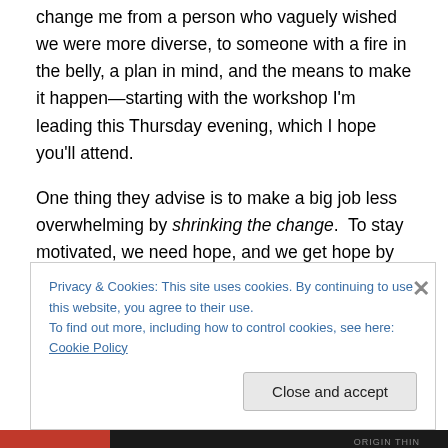change me from a person who vaguely wished we were more diverse, to someone with a fire in the belly, a plan in mind, and the means to make it happen—starting with the workshop I'm leading this Thursday evening, which I hope you'll attend.
One thing they advise is to make a big job less overwhelming by shrinking the change.  To stay motivated, we need hope, and we get hope by knowing that we're partway there.  Studies have shown how big a difference this makes.  For example, in one experiment a group of
Privacy & Cookies: This site uses cookies. By continuing to use this website, you agree to their use.
To find out more, including how to control cookies, see here: Cookie Policy